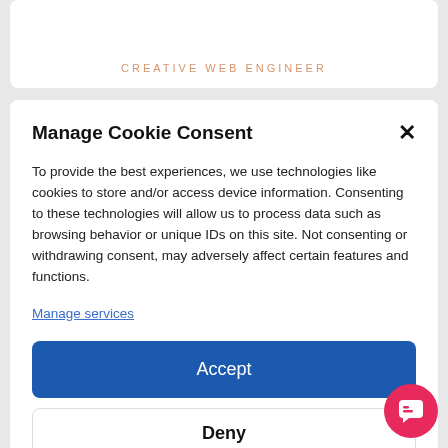CREATIVE WEB ENGINEER
Manage Cookie Consent
To provide the best experiences, we use technologies like cookies to store and/or access device information. Consenting to these technologies will allow us to process data such as browsing behavior or unique IDs on this site. Not consenting or withdrawing consent, may adversely affect certain features and functions.
Manage services
Accept
Deny
View preferences
Cookie Policy